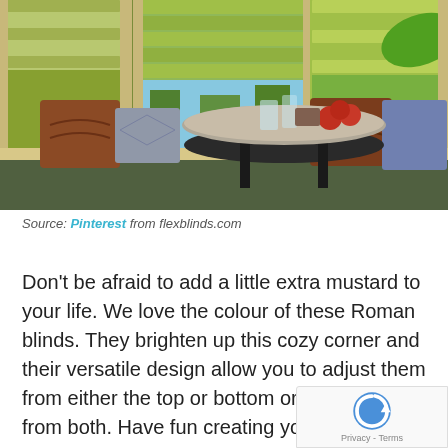[Figure (photo): Interior room photo showing a window seat with yellow/mustard Roman blinds, decorative pillows in brown and blue/grey, a round dark wooden side table with glasses and apples on it, against an olive/dark green wall.]
Source: Pinterest from flexblinds.com
Don't be afraid to add a little extra mustard to your life. We love the colour of these Roman blinds. They brighten up this cozy corner and their versatile design allow you to adjust them from either the top or bottom or if you like, from both. Have fun creating your own looks and lighting options while saving on your energy bill. Their cordl... construction also makes them a safe choice if you h... children or pets. This option comes courtesy of Pinterest...